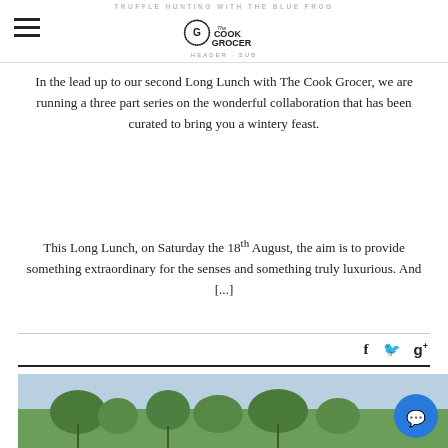TRUFFLE HUNTING WITH THE BLUE FROG — The Cook Grocer
In the lead up to our second Long Lunch with The Cook Grocer, we are running a three part series on the wonderful collaboration that has been curated to bring you a wintery feast.
This Long Lunch, on Saturday the 18th August, the aim is to provide something extraordinary for the senses and something truly luxurious. And [...]
[Figure (photo): Outdoor photo showing plants/greenery against a light blue sky, partially visible at the bottom of the page. A blue circular chat button overlays the bottom right.]